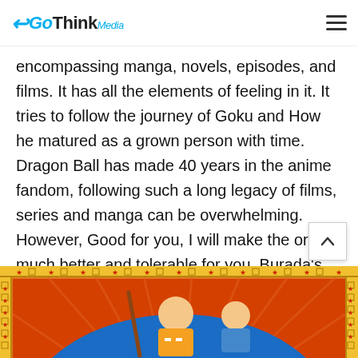GoThinkMedia
encompassing manga, novels, episodes, and films. It has all the elements of feeling in it. It tries to follow the journey of Goku and How he matured as a grown person with time. Dragon Ball has made 40 years in the anime fandom, following such a long legacy of films, series and manga can be overwhelming. However, Good for you, I will make the order much better and tolerable for you. Burada's the correct order and extra info about this amazing anime:
[Figure (illustration): Dragon Ball anime illustration showing a character (Muten-Roshi) with a staff and another character, set against an orange and blue background with decorative yellow border with red stars and square patterns]